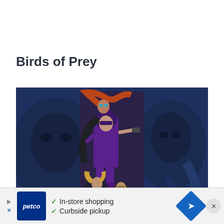Birds of Prey
[Figure (illustration): Comic book artwork showing three female superheroes (Birds of Prey): a character in a purple costume with a hat aiming a gun (Huntress) in the center, a blonde character in a black costume crouching below (Black Canary), and a character in the background right. The background features a blurred dark blue version of the same imagery.]
[Figure (infographic): Advertisement banner for Petco showing logo, checkmarks for 'In-store shopping' and 'Curbside pickup', a navigation/directions icon, and a close button.]